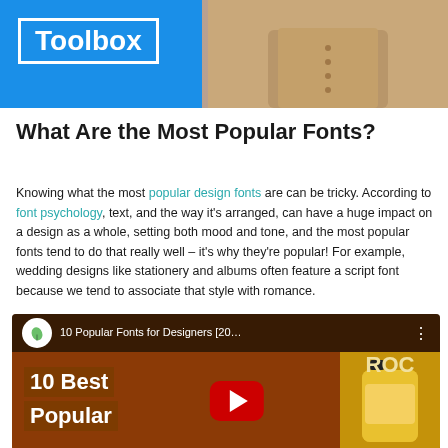[Figure (photo): Banner image with blue 'Toolbox' logo on left and a person in tan/beige clothing on right]
What Are the Most Popular Fonts?
Knowing what the most popular design fonts are can be tricky. According to font psychology, text, and the way it's arranged, can have a huge impact on a design as a whole, setting both mood and tone, and the most popular fonts tend to do that really well – it's why they're popular! For example, wedding designs like stationery and albums often feature a script font because we tend to associate that style with romance.
[Figure (screenshot): YouTube video thumbnail: '10 Popular Fonts for Designers [20...' showing '10 Best Popular' text overlay with YouTube play button and a yellow bottle on right]